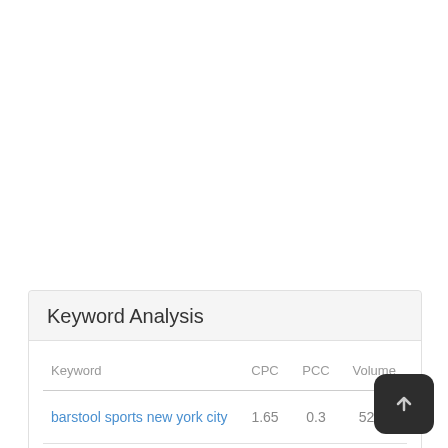Keyword Analysis
| Keyword | CPC | PCC | Volume |
| --- | --- | --- | --- |
| barstool sports new york city | 1.65 | 0.3 | 5259 |
| barstool | 1.78 | 1 | 2620 |
| sports | 0.21 | 0.3 | 4278 |
| new | 1.55 | 0.6 | 4… |